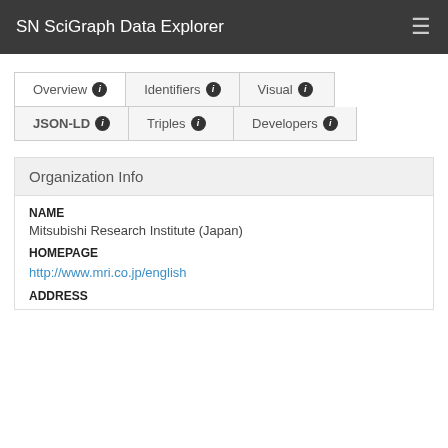SN SciGraph Data Explorer
Overview | Identifiers | Visual | JSON-LD | Triples | Developers
Organization Info
NAME
Mitsubishi Research Institute (Japan)
HOMEPAGE
http://www.mri.co.jp/english
ADDRESS